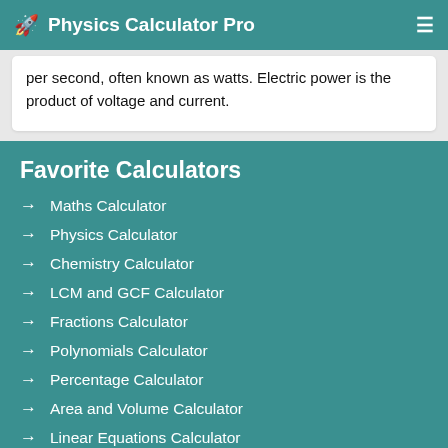Physics Calculator Pro
per second, often known as watts. Electric power is the product of voltage and current.
Favorite Calculators
Maths Calculator
Physics Calculator
Chemistry Calculator
LCM and GCF Calculator
Fractions Calculator
Polynomials Calculator
Percentage Calculator
Area and Volume Calculator
Linear Equations Calculator